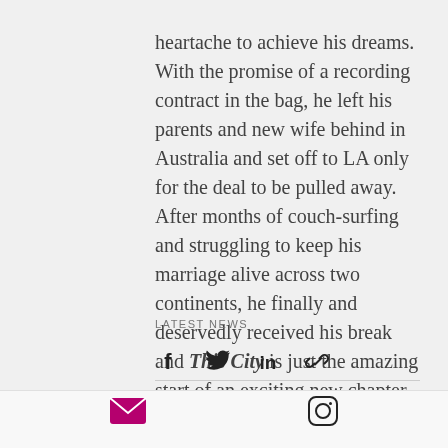heartache to achieve his dreams. With the promise of a recording contract in the bag, he left his parents and new wife behind in Australia and set off to LA only for the deal to be pulled away. After months of couch-surfing and struggling to keep his marriage alive across two continents, he finally and deservedly received his break and This City is just the amazing start of an exciting new chapter in Sam's career.
LATEST NEWS
[Figure (other): Social share icons: Facebook, Twitter, LinkedIn, Link]
[Figure (other): Stats row: eye/views icon with 0, comment icon; heart/like icon on right]
[Figure (other): Footer icons: email envelope icon (magenta), Instagram icon]